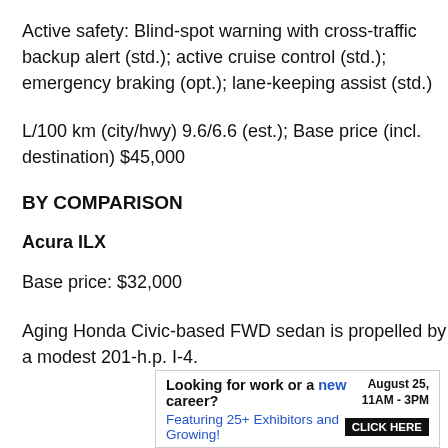Active safety: Blind-spot warning with cross-traffic backup alert (std.); active cruise control (std.); emergency braking (opt.); lane-keeping assist (std.)
L/100 km (city/hwy) 9.6/6.6 (est.); Base price (incl. destination) $45,000
BY COMPARISON
Acura ILX
Base price: $32,000
Aging Honda Civic-based FWD sedan is propelled by a modest 201-h.p. I-4.
[Figure (infographic): Advertisement banner: 'Looking for work or a new career? August 25, 11AM-3PM. Featuring 25+ Exhibitors and Growing! CLICK HERE']